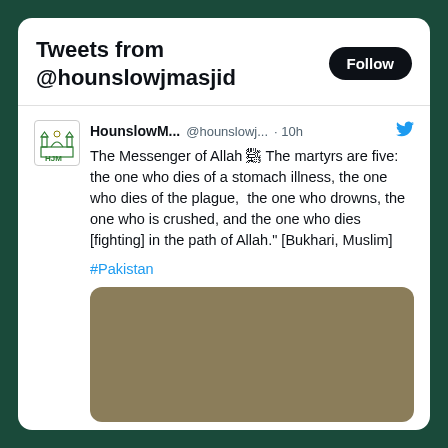Tweets from @hounslowjmasjid
HounslowM... @hounslowj... · 10h
The Messenger of Allah ﷺ The martyrs are five: the one who dies of a stomach illness, the one who dies of the plague,  the one who drowns, the one who is crushed, and the one who dies [fighting] in the path of Allah." [Bukhari, Muslim]
#Pakistan
[Figure (photo): Brownish/tan colored image placeholder (blurred/hidden content)]